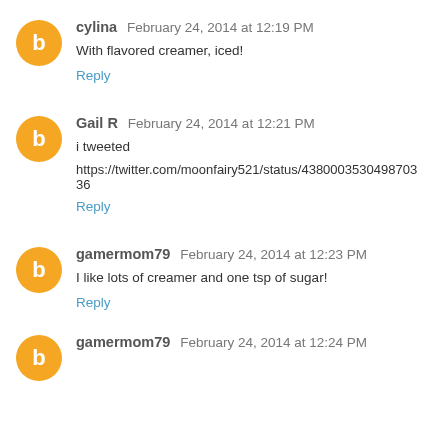cylina  February 24, 2014 at 12:19 PM
With flavored creamer, iced!
Reply
Gail R  February 24, 2014 at 12:21 PM
i tweeted
https://twitter.com/moonfairy521/status/43800035304987036
Reply
gamermom79  February 24, 2014 at 12:23 PM
I like lots of creamer and one tsp of sugar!
Reply
gamermom79  February 24, 2014 at 12:24 PM